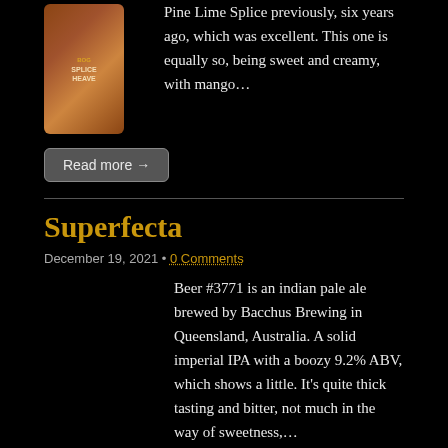[Figure (photo): Product photo of a beer can with label reading 'SPLICE HEAVEN']
Pine Lime Splice previously, six years ago, which was excellent. This one is equally so, being sweet and creamy, with mango…
Read more →
Superfecta
December 19, 2021 • 0 Comments
Beer #3771 is an indian pale ale brewed by Bacchus Brewing in Queensland, Australia. A solid imperial IPA with a boozy 9.2% ABV, which shows a little. It's quite thick tasting and bitter, not much in the way of sweetness,…